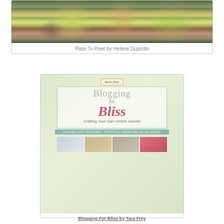[Figure (photo): Photo of pears in a bowl - book cover for Plate To Pixel by Helene Dujardin]
Plate To Pixel by Helene Dujardin
[Figure (photo): Book cover image for Blogging for Bliss: Crafting Your Own Online Journal by Tara Frey - A Guide for Crafters, Artists & Creatives of All Kinds]
Blogging For Bliss by Tara Frey